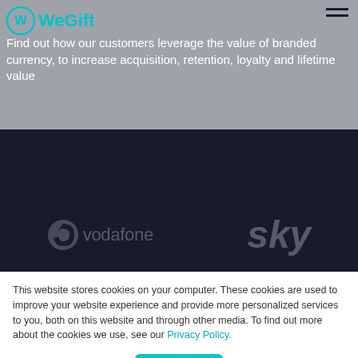WeGift logo and navigation
Find out how our customers leverage the value of branded currency, to increase acquisition, retention, loyalty and lifetime value
[Figure (logo): Vodafone logo — circle with notch and text 'vodafone']
[Figure (logo): Sky logo — italic bold text 'sky']
This website stores cookies on your computer. These cookies are used to improve your website experience and provide more personalized services to you, both on this website and through other media. To find out more about the cookies we use, see our Privacy Policy.